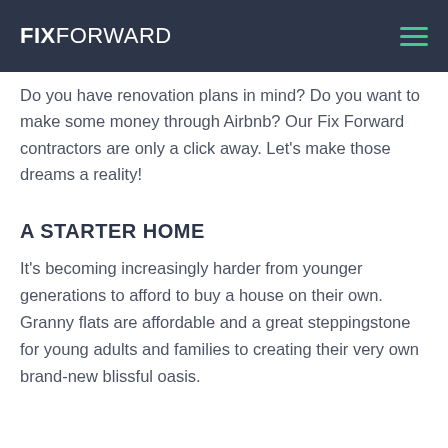FIXFORWARD
Do you have renovation plans in mind? Do you want to make some money through Airbnb? Our Fix Forward contractors are only a click away. Let's make those dreams a reality!
A STARTER HOME
It's becoming increasingly harder from younger generations to afford to buy a house on their own. Granny flats are affordable and a great steppingstone for young adults and families to creating their very own brand-new blissful oasis.